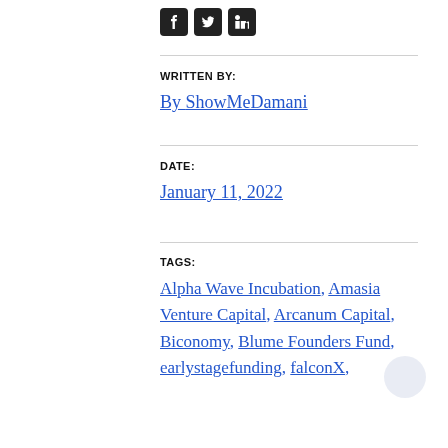[Figure (other): Social media share icons: Facebook, Twitter, LinkedIn]
WRITTEN BY:
By ShowMeDamani
DATE:
January 11, 2022
TAGS:
Alpha Wave Incubation, Amasia Venture Capital, Arcanum Capital, Biconomy, Blume Founders Fund, earlystagefunding, falconX,